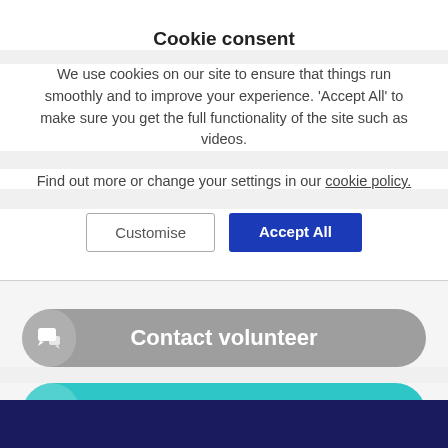Cookie consent
We use cookies on our site to ensure that things run smoothly and to improve your experience. 'Accept All' to make sure you get the full functionality of the site such as videos.
Find out more or change your settings in our cookie policy.
Customise  Accept All
Contact volunteer
Save volunteer